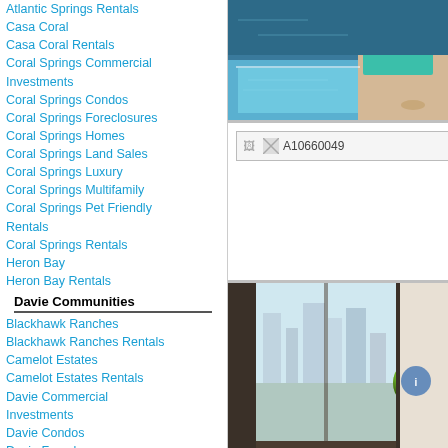Atlantic Springs Rentals
Casa Coral
Casa Coral Rentals
Coral Springs Commercial Investments
Coral Springs Condos
Coral Springs Foreclosures
Coral Springs Homes
Coral Springs Land Sales
Coral Springs Luxury
Coral Springs Multifamily
Coral Springs Pet Friendly Rentals
Coral Springs Rentals
Heron Bay
Heron Bay Rentals
Davie Communities
Blackhawk Ranches
Blackhawk Ranches Rentals
Camelot Estates
Camelot Estates Rentals
Davie Commercial Investments
Davie Condos
Davie Foreclosures
Davie Homes
Davie Land Sales
Davie Luxury
Davie Multifamily
Davie Pet Friendly Rentals
Davie Rentals
Everglade Land Sales
[Figure (photo): Aerial view of a waterfront property with a pool, dock and teal canopy structure]
[Figure (photo): Placeholder image labeled A10660049]
[Figure (photo): Interior view through glass window showing city skyline and a decorative sphere]